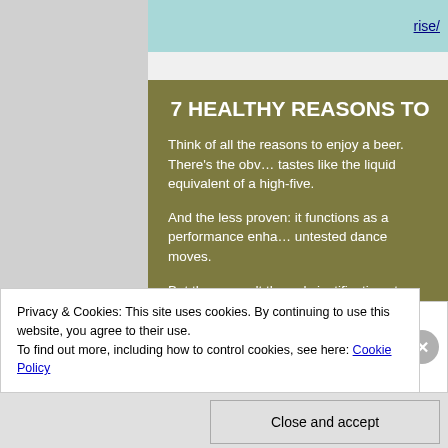rise/
7 HEALTHY REASONS TO
Think of all the reasons to enjoy a beer. There’s the obv… tastes like the liquid equivalent of a high-five.
And the less proven: it functions as a performance enha… untested dance moves.
But those aren't the only justifications to knock back a d… ways beer can keep you healthy.
1. Beer can help reduce your risk of heart disease
Privacy & Cookies: This site uses cookies. By continuing to use this website, you agree to their use.
To find out more, including how to control cookies, see here: Cookie Policy